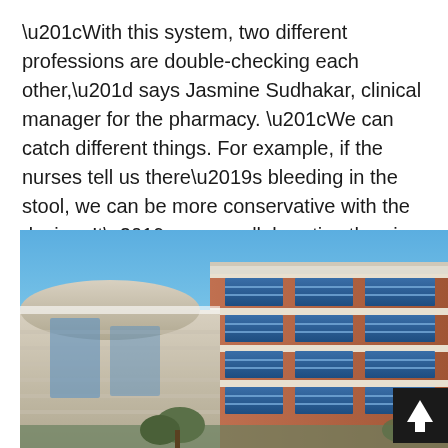“With this system, two different professions are double-checking each other,” says Jasmine Sudhakar, clinical manager for the pharmacy. “We can catch different things. For example, if the nurses tell us there’s bleeding in the stool, we can be more conservative with the dosing. It’s more collaborative than in the past.”
[Figure (photo): Exterior photograph of a modern multi-story hospital or medical office building with brick facade, large blue-tinted windows arranged in vertical bays, and a curved glass entrance section under a clear blue sky. Trees are visible at the base of the building.]